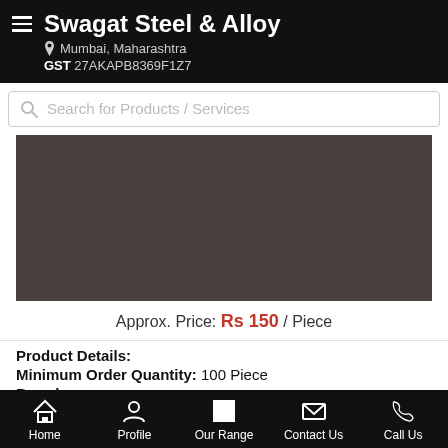Swagat Steel & Alloy
Mumbai, Maharashtra
GST 27AKAPB8369F1Z7
Search for Products / Services
[Figure (photo): Dark brownish-grey product image placeholder]
Approx. Price: Rs 150 / Piece
Product Details:
Minimum Order Quantity: 100 Piece
Brand: ...more
Home | Profile | Our Range | Contact Us | Call Us